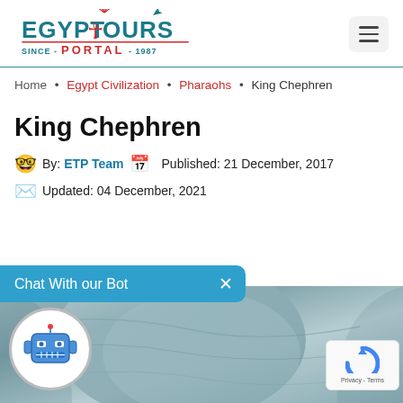[Figure (logo): Egypt Tours Portal logo with ankh symbol, teal and red colors, 'SINCE PORTAL 1987']
Home • Egypt Civilization • Pharaohs • King Chephren
King Chephren
By: ETP Team  Published: 21 December, 2017
Updated: 04 December, 2021
[Figure (photo): Close-up photo of ancient Egyptian stone statue, grayish-green tone, bottom portion of page]
Chat With our Bot  ×